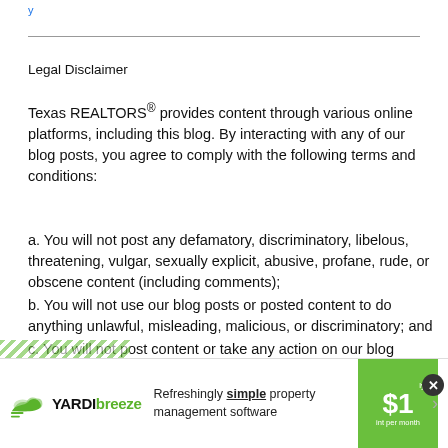Legal Disclaimer
Texas REALTORS® provides content through various online platforms, including this blog. By interacting with any of our blog posts, you agree to comply with the following terms and conditions:
a. You will not post any defamatory, discriminatory, libelous, threatening, vulgar, sexually explicit, abusive, profane, rude, or obscene content (including comments);
b. You will not use our blog posts or posted content to do anything unlawful, misleading, malicious, or discriminatory; and
c. You will not post content or take any action on our blog
[Figure (screenshot): Yardi Breeze advertisement banner: logo with cloud icon and text 'YARDI breeze', tagline 'Refreshingly simple property management software', green box with pricing, close button]